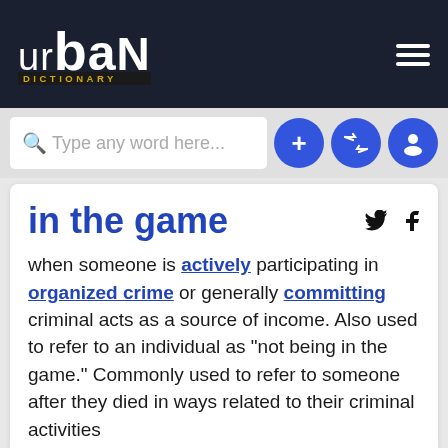urban dictionary
Type any word here...
in the game
when someone is actively participating in organized crime or generally committing criminal acts as a source of income. Also used to refer to an individual as "not being in the game." Commonly used to refer to someone after they died in ways related to their criminal activities